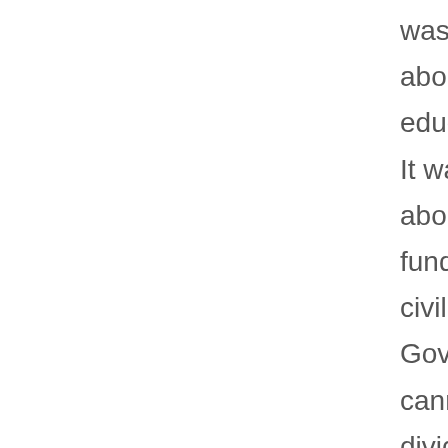was not about education. It was about fundamental civil rights. Government cannot divide citizens into two classes, white and black. Preventing that was the purpose of the Fourteenth Amendment (and